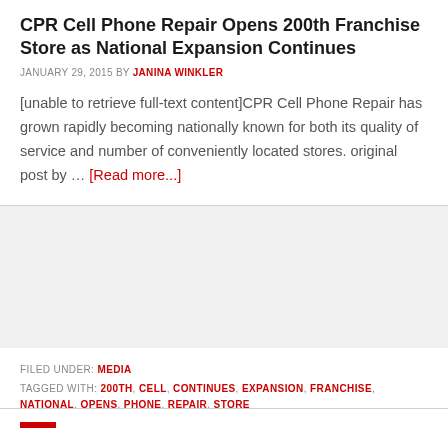CPR Cell Phone Repair Opens 200th Franchise Store as National Expansion Continues
JANUARY 29, 2015 BY JANINA WINKLER
[unable to retrieve full-text content]CPR Cell Phone Repair has grown rapidly becoming nationally known for both its quality of service and number of conveniently located stores. original post by … [Read more...]
FILED UNDER: MEDIA
TAGGED WITH: 200TH, CELL, CONTINUES, EXPANSION, FRANCHISE, NATIONAL, OPENS, PHONE, REPAIR, STORE